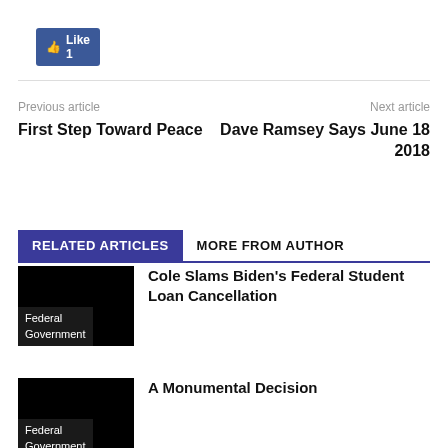[Figure (other): Facebook Like button showing count of 1]
Previous article
First Step Toward Peace
Next article
Dave Ramsey Says June 18 2018
RELATED ARTICLES
MORE FROM AUTHOR
Cole Slams Biden's Federal Student Loan Cancellation
Federal Government
A Monumental Decision
Federal Government